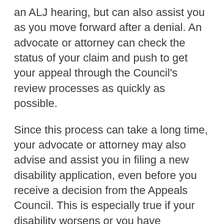an ALJ hearing, but can also assist you as you move forward after a denial. An advocate or attorney can check the status of your claim and push to get your appeal through the Council's review processes as quickly as possible.
Since this process can take a long time, your advocate or attorney may also advise and assist you in filing a new disability application, even before you receive a decision from the Appeals Council. This is especially true if your disability worsens or you have significant, new medical evidence with which to argue eligibility for disability benefits.
Additional Resources